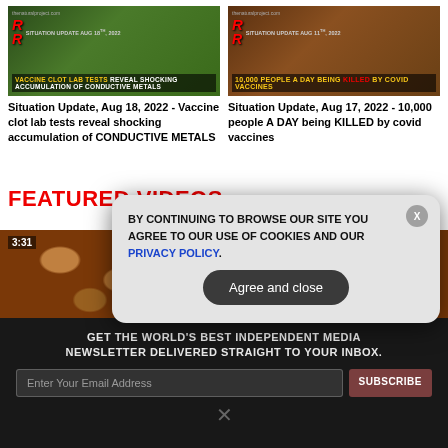[Figure (screenshot): Thumbnail for 'Situation Update, Aug 18, 2022' video showing green leafy background with RR logo and text about vaccine clot lab tests]
Situation Update, Aug 18, 2022 - Vaccine clot lab tests reveal shocking accumulation of CONDUCTIVE METALS
[Figure (screenshot): Thumbnail for 'Situation Update, Aug 17, 2022' video showing person in mask with RR logo and text about 10,000 people a day being killed by covid vaccines]
Situation Update, Aug 17, 2022 - 10,000 people A DAY being KILLED by covid vaccines
FEATURED VIDEOS
[Figure (screenshot): Featured video thumbnail showing dried mushrooms with timestamp 3:31]
GET THE WORLD'S BEST INDEPENDENT MEDIA NEWSLETTER DELIVERED STRAIGHT TO YOUR INBOX.
Enter Your Email Address
SUBSCRIBE
[Figure (screenshot): Cookie consent popup: BY CONTINUING TO BROWSE OUR SITE YOU AGREE TO OUR USE OF COOKIES AND OUR PRIVACY POLICY. with Agree and close button and X close button]